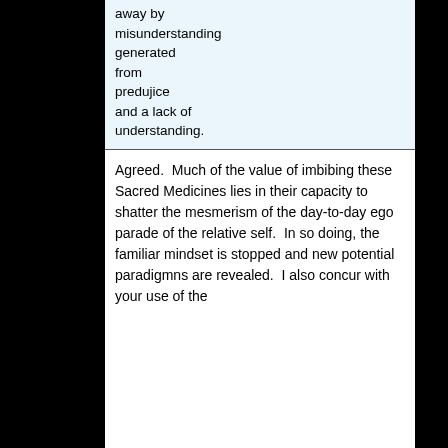away by misunderstanding generated from predujice and a lack of understanding.
Agreed.  Much of the value of imbibing these Sacred Medicines lies in their capacity to shatter the mesmerism of the day-to-day ego parade of the relative self.  In so doing, the familiar mindset is stopped and new potential paradigmns are revealed.  I also concur with your use of the